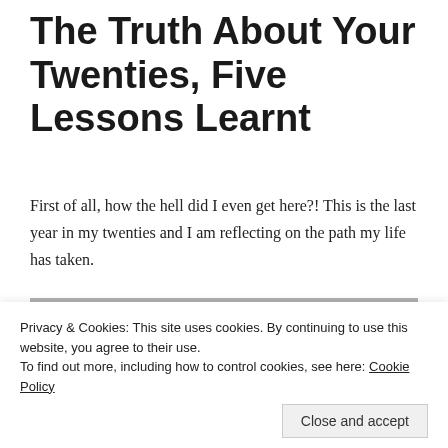The Truth About Your Twenties, Five Lessons Learnt
First of all, how the hell did I even get here?! This is the last year in my twenties and I am reflecting on the path my life has taken.
[Figure (photo): A person wearing sunglasses and a light-colored top, standing outdoors on a road or parking lot, with trees and sky in the background.]
Privacy & Cookies: This site uses cookies. By continuing to use this website, you agree to their use.
To find out more, including how to control cookies, see here: Cookie Policy
Close and accept